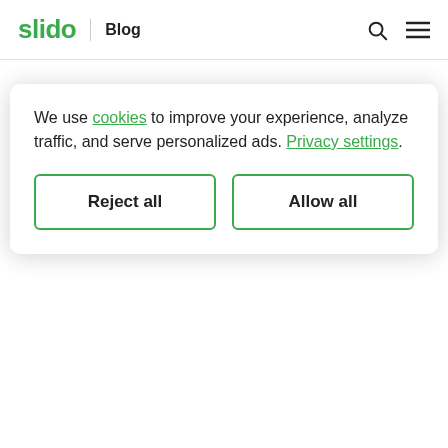slido | Blog
The interaction looked slightly different for pre-recorded and live talks.
Interaction during pre-recorded talks
Magda asked each speaker to be online at the
We use cookies to improve your experience, analyze traffic, and serve personalized ads. Privacy settings.
Reject all
Allow all